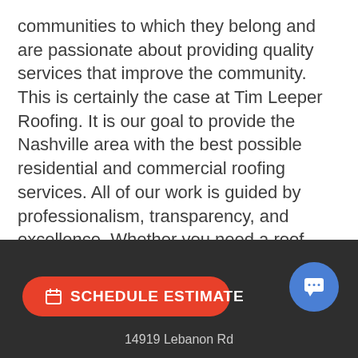communities to which they belong and are passionate about providing quality services that improve the community. This is certainly the case at Tim Leeper Roofing. It is our goal to provide the Nashville area with the best possible residential and commercial roofing services. All of our work is guided by professionalism, transparency, and excellence. Whether you need a roof repair, replacement, or routine inspection, we are poised to help.
Call (615)-553-2782 to learn more about our roofing services. Get your speedy fast quote today!
SCHEDULE ESTIMATE  |  14919 Lebanon Rd